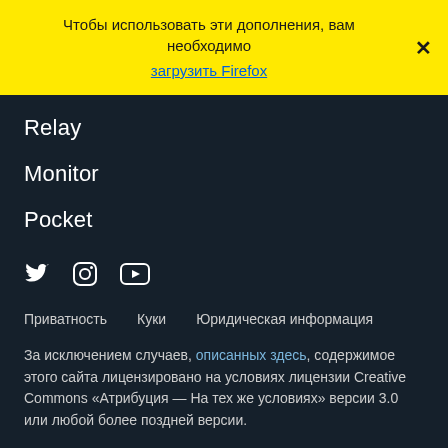Чтобы использовать эти дополнения, вам необходимо загрузить Firefox
Relay
Monitor
Pocket
[Figure (other): Social media icons: Twitter, Instagram, YouTube]
Приватность   Куки   Юридическая информация
За исключением случаев, описанных здесь, содержимое этого сайта лицензировано на условиях лицензии Creative Commons «Атрибуция — На тех же условиях» версии 3.0 или любой более поздней версии.